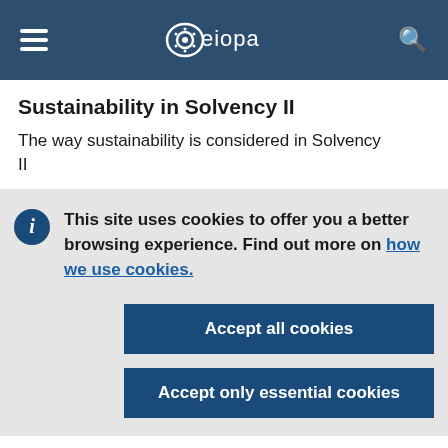EIOPA — navigation header with hamburger menu, EIOPA logo, and search icon
Sustainability in Solvency II
The way sustainability is considered in Solvency II
This site uses cookies to offer you a better browsing experience. Find out more on how we use cookies.
Accept all cookies
Accept only essential cookies